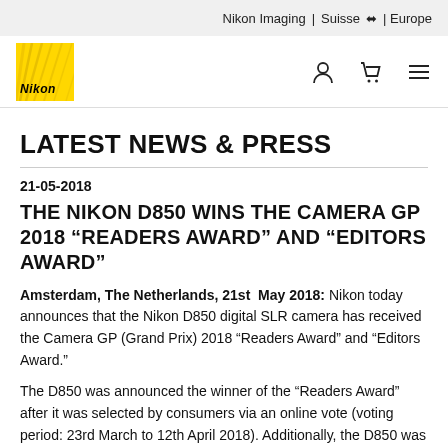Nikon Imaging | Suisse ⬧ | Europe
[Figure (logo): Nikon yellow logo with diagonal lines and Nikon text]
LATEST NEWS & PRESS
21-05-2018
THE NIKON D850 WINS THE CAMERA GP 2018 “READERS AWARD” AND “EDITORS AWARD”
Amsterdam, The Netherlands, 21st May 2018: Nikon today announces that the Nikon D850 digital SLR camera has received the Camera GP (Grand Prix) 2018 “Readers Award” and “Editors Award.”
The D850 was announced the winner of the “Readers Award” after it was selected by consumers via an online vote (voting period: 23rd March to 12th April 2018). Additionally, the D850 was